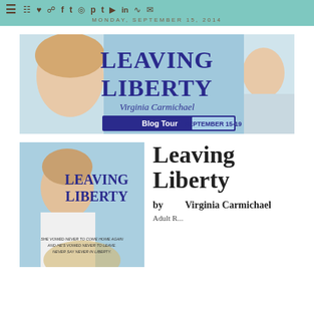☰  🛒 ♥ 📋 f t 📷 p t ▶ in ☁ ✉   MONDAY, SEPTEMBER 15, 2014
[Figure (photo): Leaving Liberty by Virginia Carmichael blog tour banner for September 15-19, featuring two young women on a light blue background]
[Figure (photo): Leaving Liberty book cover featuring a young woman in a white dress, with tagline 'She vowed never to come home again and he's vowed never to leave. Never say never in Liberty.']
Leaving Liberty
by Virginia Carmichael
Adult B...